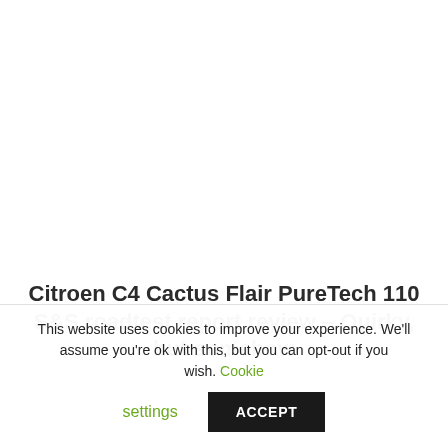Citroen C4 Cactus Flair PureTech 110 S&S roadtest report review – Quirky, but somehow
This website uses cookies to improve your experience. We'll assume you're ok with this, but you can opt-out if you wish. Cookie settings ACCEPT